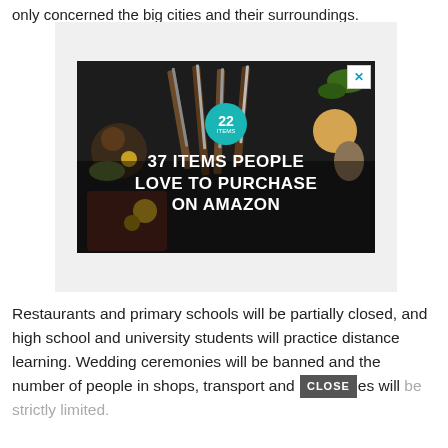only concerned the big cities and their surroundings.
[Figure (other): Advertisement banner: dark background with kitchen knives and food items, teal badge showing '22', text '37 ITEMS PEOPLE LOVE TO PURCHASE ON AMAZON', close button (X) in top right corner]
Restaurants and primary schools will be partially closed, and high school and university students will practice distance learning. Wedding ceremonies will be banned and the number of people in shops, transport and [CLOSE] es will be strictly limited.